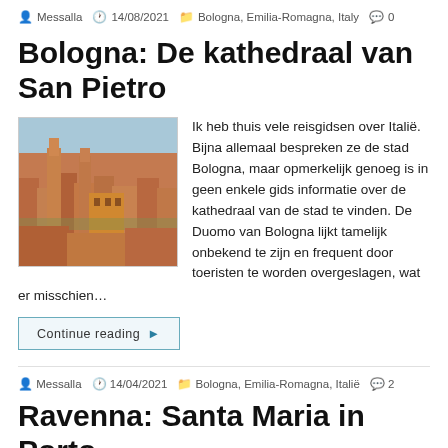Messalla  14/08/2021  Bologna, Emilia-Romagna, Italy  0
Bologna: De kathedraal van San Pietro
[Figure (photo): Aerial view of Bologna city rooftops with medieval towers]
Ik heb thuis vele reisgidsen over Italië. Bijna allemaal bespreken ze de stad Bologna, maar opmerkelijk genoeg is in geen enkele gids informatie over de kathedraal van de stad te vinden. De Duomo van Bologna lijkt tamelijk onbekend te zijn en frequent door toeristen te worden overgeslagen, wat er misschien…
Continue reading ▶
Messalla  14/04/2021  Bologna, Emilia-Romagna, Italië  2
Ravenna: Santa Maria in Porto